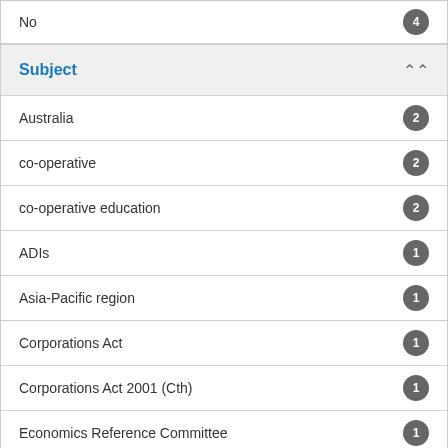No 4
Subject
Australia 2
co-operative 2
co-operative education 2
ADIs 1
Asia-Pacific region 1
Corporations Act 1
Corporations Act 2001 (Cth) 1
Economics Reference Committee 1
Model Work Health and Safety Law 1